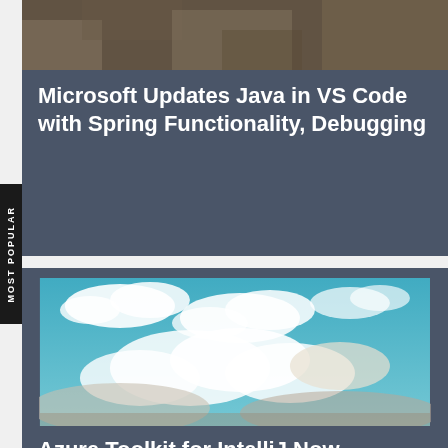[Figure (photo): Cropped top portion of a photo, likely an animal or nature scene]
Microsoft Updates Java in VS Code with Spring Functionality, Debugging
[Figure (photo): Blue sky with white clouds, slightly teal-tinted vintage tone]
Azure Toolkit for IntelliJ Now Supports Kubernetes